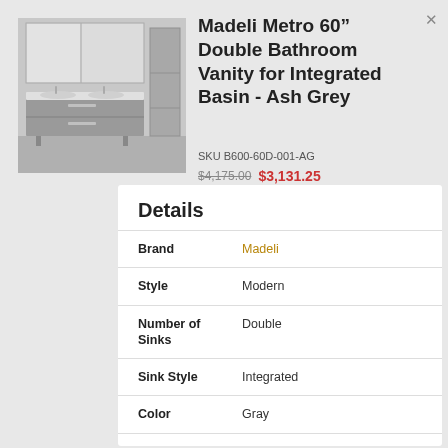[Figure (photo): Gray double bathroom vanity with integrated basin, large mirror cabinet, and side storage tower in ash grey finish]
Madeli Metro 60" Double Bathroom Vanity for Integrated Basin - Ash Grey
SKU B600-60D-001-AG
$4,175.00  $3,131.25
Details
| Attribute | Value |
| --- | --- |
| Brand | Madeli |
| Style | Modern |
| Number of Sinks | Double |
| Sink Style | Integrated |
| Color | Gray |
| Type | Free-Standing |